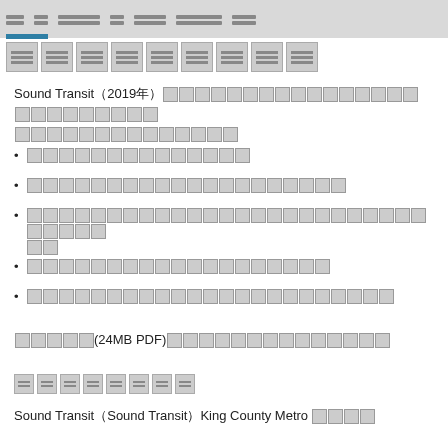[Navigation bar with redacted menu items]
[Figure (other): Row of redacted image thumbnail blocks]
Sound Transit（2019年）[redacted Japanese text]
[Redacted Japanese bullet point 1]
[Redacted Japanese bullet point 2]
[Redacted Japanese bullet point 3 - two lines]
[Redacted Japanese bullet point 4]
[Redacted Japanese bullet point 5]
[Link text] (24MB PDF)[redacted Japanese text]
[Redacted section header]
Sound Transit（Sound Transit）King County Metro [redacted Japanese]